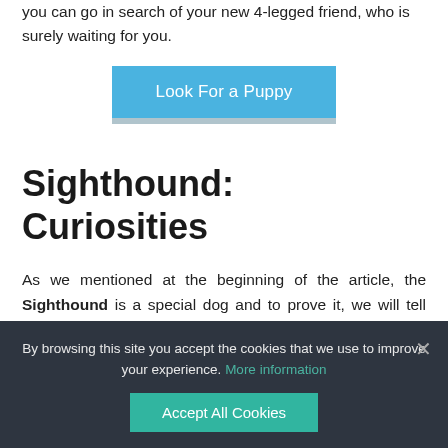you can go in search of your new 4-legged friend, who is surely waiting for you.
[Figure (other): Blue button labeled 'Look For a Puppy' with a light gray shadow bar beneath it]
Sighthound: Curiosities
As we mentioned at the beginning of the article, the Sighthound is a special dog and to prove it, we will tell you some interesting facts.
By browsing this site you accept the cookies that we use to improve your experience. More information
Accept All Cookies